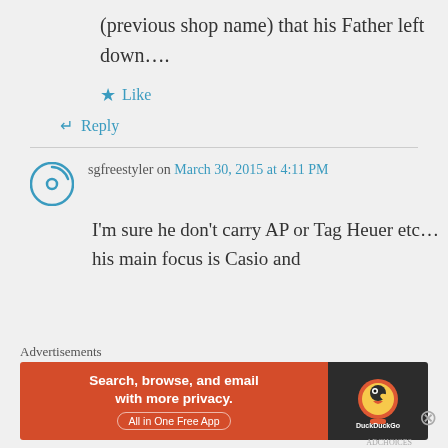(previous shop name) that his Father left down….
★ Like
↵ Reply
sgfreestyler on March 30, 2015 at 4:11 PM
I'm sure he don't carry AP or Tag Heuer etc… his main focus is Casio and
Advertisements
[Figure (screenshot): DuckDuckGo advertisement banner: orange left side reading 'Search, browse, and email with more privacy. All in One Free App', dark right side with DuckDuckGo logo.]